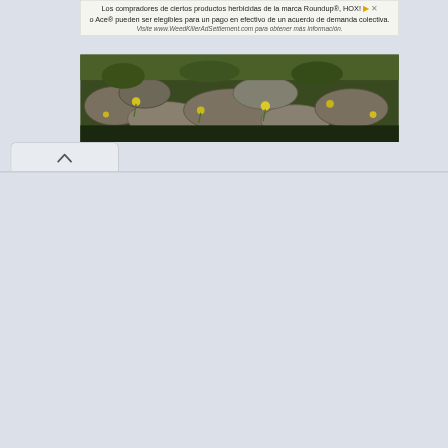Los compradores de ciertos productos herbicidas de la marca Roundup®, HOX! o Ace® pueden ser elegibles para un pago en efectivo de un acuerdo de demanda colectiva. Visite www.WeedKillerAdSettlement.com para obtener más información.
[Figure (photo): Nature photo strip showing stones, grass, and yellow flowers]
[Figure (screenshot): Browser sidebar showing arrow/chevron up icon on gray background]
MONSEÑOR GEORGES ÉDOUARD LEMAÎTRE, fue un sacerdote belga, a profesor de física en la s de la Universidad Catól Él fue EL PRIMER ACA EXPANSIÓN DEL UNIV fue el primero en deriva estimación de lo que ah dos años antes del artícu como LA TEORÍA DEL B "HIPÓTESIS DEL ÁTOM
[Figure (photo): Book cover images showing ancient figurines, a goddess statue, DNA helix, and decorative mandala pattern]